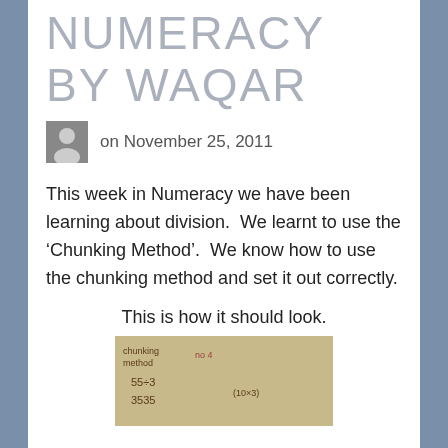NUMERACY BY WAQAR
on November 25, 2011
This week in Numeracy we have been learning about division.  We learnt to use the ‘Chunking Method’.  We know how to use the chunking method and set it out correctly.
This is how it should look.
[Figure (photo): A handwritten notebook page showing the chunking method for division, with 'chunking method' written at the top and division calculations below including 55÷3 and 3535 written out.]